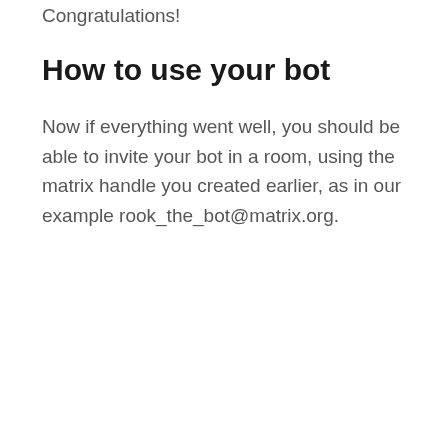Congratulations!
How to use your bot
Now if everything went well, you should be able to invite your bot in a room, using the matrix handle you created earlier, as in our example rook_the_bot@matrix.org.